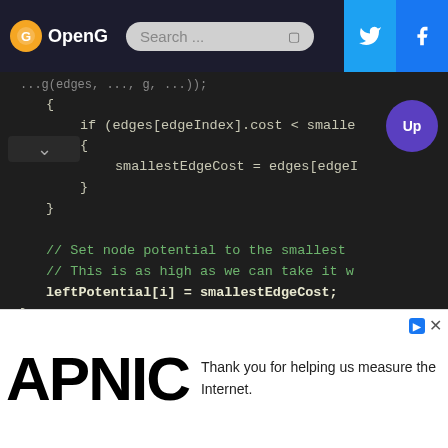OpenG [Search bar] [Twitter] [Facebook]
[Figure (screenshot): Dark-themed code editor showing C++ code with if-block checking edges[edgeIndex].cost, assignment of smallestEdgeCost, comment lines about setting node potential to smallest edge cost, and leftPotential[i] = smallestEdgeCost; plus comments about raising potentials on the right side]
Thank you for helping us measure the Internet.